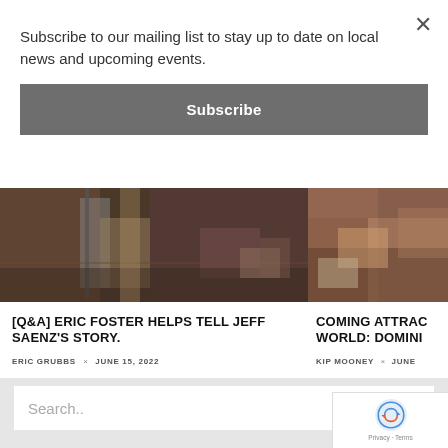Subscribe to our mailing list to stay up to date on local news and upcoming events.
Subscribe
[Figure (photo): Indoor scene with photography equipment, rugs, and various objects on the floor, dark atmospheric setting]
[Q&A] ERIC FOSTER HELPS TELL JEFF SAENZ'S STORY.
ERIC GRUBBS × JUNE 15, 2022
[Figure (photo): Partial view of objects and books on a surface, warm tones]
COMING ATTRAC WORLD: DOMINI
KIP MOONEY × JUNE
Search..